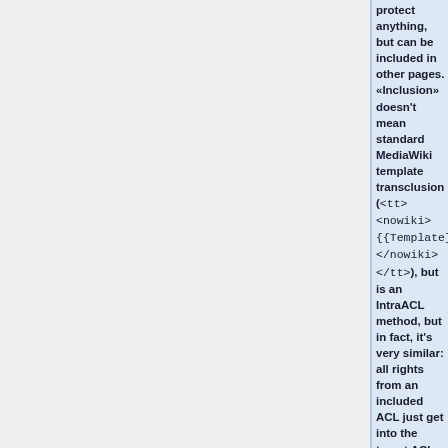protect anything, but can be included in other pages. «Inclusion» doesn't mean standard MediaWiki template transclusion (<tt><nowiki>{{Template}}</nowiki></tt>), but is an IntraACL method, but in fact, it's very similar: all rights from an included ACL just get into the target ACLs as if they were